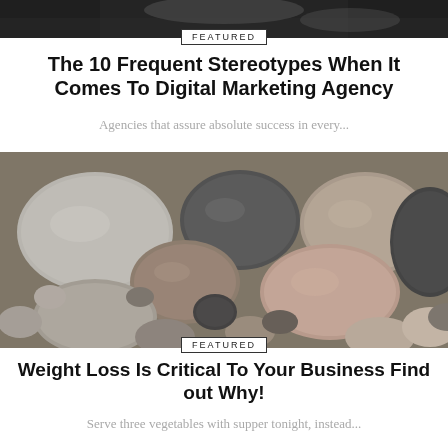[Figure (photo): Partial photo strip at the top of the page showing a dark background, bottom portion of a hand or object.]
FEATURED
The 10 Frequent Stereotypes When It Comes To Digital Marketing Agency
Agencies that assure absolute success in every...
[Figure (photo): Close-up photograph of assorted smooth river stones and pebbles in various shades of grey, beige, brown, and pink.]
FEATURED
Weight Loss Is Critical To Your Business Find out Why!
Serve three vegetables with supper tonight, instead...